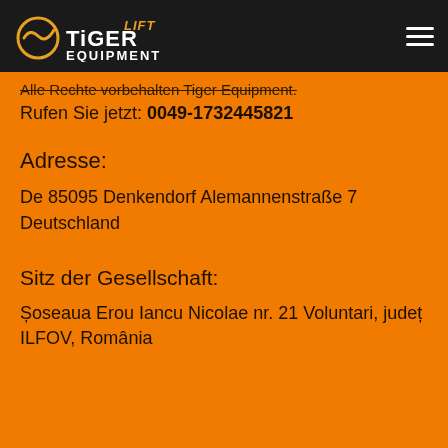[Figure (logo): Tiger Equipment Lift logo on dark header bar with hamburger menu icon]
Alle Rechte vorbehalten Tiger Equipment.
Rufen Sie jetzt: 0049-1732445821
Adresse:
De 85095 Denkendorf Alemannenstraße 7 Deutschland
Sitz der Gesellschaft:
Șoseaua Erou Iancu Nicolae nr. 21 Voluntari, județ ILFOV, România